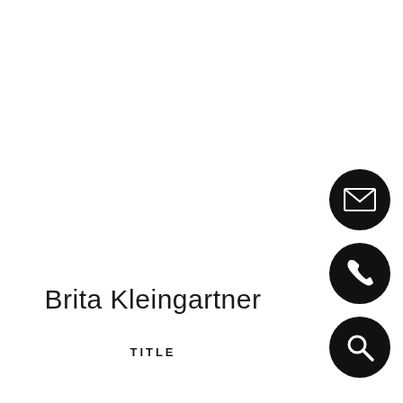Brita Kleingartner
TITLE
[Figure (illustration): Three black circular icon buttons on the right side: email/envelope icon, phone icon, and search/magnifying glass icon, arranged vertically]